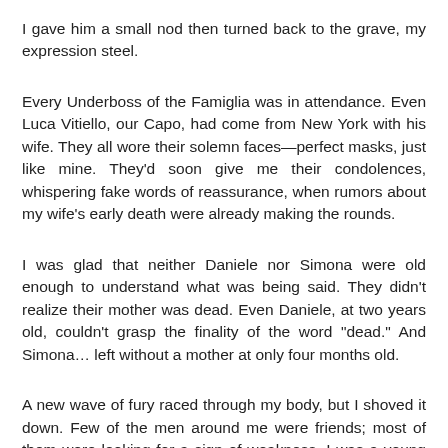I gave him a small nod then turned back to the grave, my expression steel.
Every Underboss of the Famiglia was in attendance. Even Luca Vitiello, our Capo, had come from New York with his wife. They all wore their solemn faces—perfect masks, just like mine. They'd soon give me their condolences, whispering fake words of reassurance, when rumors about my wife's early death were already making the rounds.
I was glad that neither Daniele nor Simona were old enough to understand what was being said. They didn't realize their mother was dead. Even Daniele, at two years old, couldn't grasp the finality of the word "dead." And Simona… left without a mother at only four months old.
A new wave of fury raced through my body, but I shoved it down. Few of the men around me were friends; most of them were looking for a sign of weakness. I was a young Underboss, too young in many eyes, but I was trusted to rule over Philadelphia with a